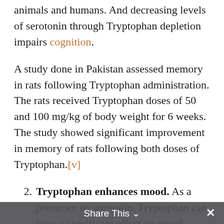animals and humans. And decreasing levels of serotonin through Tryptophan depletion impairs cognition.
A study done in Pakistan assessed memory in rats following Tryptophan administration. The rats received Tryptophan doses of 50 and 100 mg/kg of body weight for 6 weeks. The study showed significant improvement in memory of rats following both doses of Tryptophan.[v]
2. Tryptophan enhances mood. As a precursor to serotonin, Tryptophan can have a significant effect on mood. Supplementing with Tryptophan has been found to increase not only serotonin, but growth hormone and prolactin as well.
Share This ∨  ✕